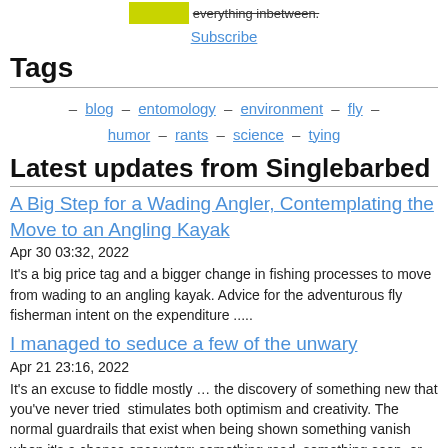everything inbetween.
Subscribe
Tags
– blog – entomology – environment – fly – humor – rants – science – tying
Latest updates from Singlebarbed
A Big Step for a Wading Angler, Contemplating the Move to an Angling Kayak
Apr 30 03:32, 2022
It's a big price tag and a bigger change in fishing processes to move from wading to an angling kayak. Advice for the adventurous fly fisherman intent on the expenditure .....
I managed to seduce a few of the unwary
Apr 21 23:16, 2022
It's an excuse to fiddle mostly … the discovery of something new that you've never tried  stimulates both optimism and creativity. The normal guardrails that exist when being shown something vanish when it's a chance encounter; something read, something seen, or something